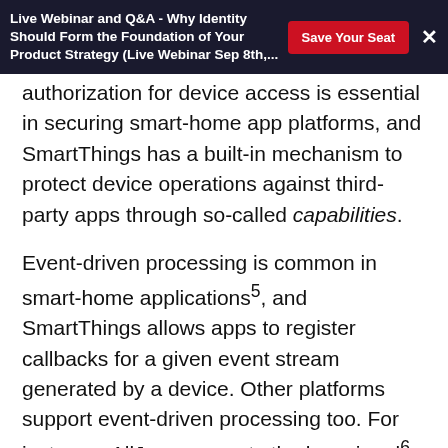Live Webinar and Q&A - Why Identity Should Form the Foundation of Your Product Strategy (Live Webinar Sep 8th,...
authorization for device access is essential in securing smart-home app platforms, and SmartThings has a built-in mechanism to protect device operations against third-party apps through so-called capabilities.
Event-driven processing is common in smart-home applications⁵, and SmartThings allows apps to register callbacks for a given event stream generated by a device. Other platforms support event-driven processing too. For instance, AllJoyn supports the bus signal⁶, and HomeKit provides the characteristic notification API⁷. Therefore, we believe lessons learned from an analysis of the SmartThings permission model will inform the early design stages of other programmable smart home